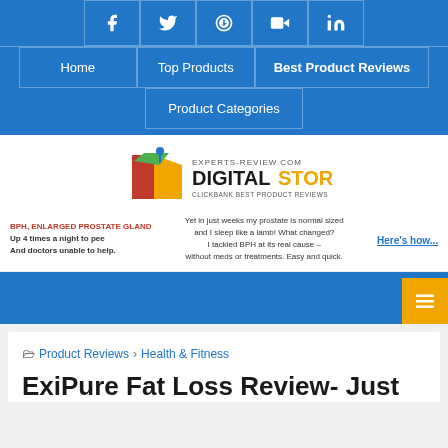[Figure (screenshot): Social media icon bar with Facebook, Twitter, Pinterest, YouTube, LinkedIn icons on blue background]
Home | Top Products | Best Product Reviews | Product Categories
[Figure (logo): experts-review.com DIGITAL STORE Clickbank Best Product Reviews logo]
[Figure (infographic): BPH advertisement banner: BPH, ENLARGED PROSTATE GLAND - Up 4 times a night to pee And doctors unable to help. Yet in just weeks my prostate is normal sized and I sleep like a lamb! What changed? I tackled BPH at its real cause - without meds or treatments. Easy and quick. Here's how...]
[Figure (infographic): Blue strip with orange hamburger menu button]
📁 Product Reviews › Health & Fitness
ExiPure Fat Loss Review- Just